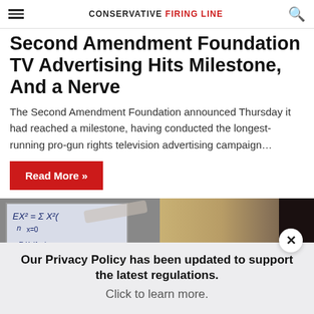CONSERVATIVE FIRING LINE
Second Amendment Foundation TV Advertising Hits Milestone, And a Nerve
The Second Amendment Foundation announced Thursday it had reached a milestone, having conducted the longest-running pro-gun rights television advertising campaign…
Read More »
[Figure (photo): Person writing math equations on a whiteboard]
Our Privacy Policy has been updated to support the latest regulations. Click to learn more.